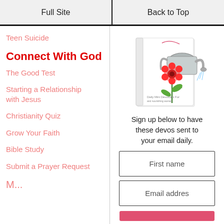Full Site | Back to Top
Teen Suicide
Connect With God
The Good Test
Starting a Relationship with Jesus
Christianity Quiz
Grow Your Faith
Bible Study
Submit a Prayer Request
[Figure (illustration): A book cover illustration showing a watering can with flowers including a red gerbera daisy and green leaves, with text on the book cover.]
Sign up below to have these devos sent to your email daily.
First name
Email addres